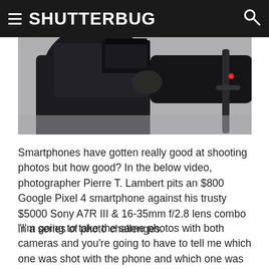SHUTTERBUG
[Figure (photo): Photographer holding a camera up, viewed from behind, dark clothing, grey background]
Smartphones have gotten really good at shooting photos but how good? In the below video, photographer Pierre T. Lambert pits an $800 Google Pixel 4 smartphone against his trusty $5000 Sony A7R III & 16-35mm f/2.8 lens combo in a series of photo challenges.
"I'm going to take the same photos with both cameras and you're going to have to tell me which one was shot with the phone and which one was shot with the camera," Lambert says. "I will reveal